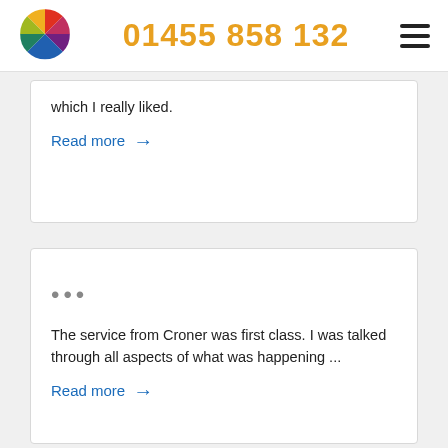01455 858 132
which I really liked.
Read more →
...
The service from Croner was first class. I was talked through all aspects of what was happening ...
Read more →